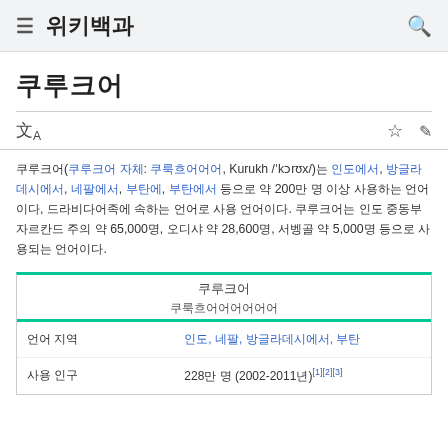≡ 위키백과 🔍
쿠루크어
쿠루크어(쿠루크어 자체: 쿠룩흐어어어, Kurukh /ˈkɔrʊx/)는 인도에서, 방글라데시에서, 네팔에서, 부탄에서, 부탄에서 등으로 약 200만 명 이상 사용하는 언어이다, 드라비다어족에 속하는 언어로 사용 언어이다. 쿠루크어는 인도 중동부 자르칸드 주의 약 65,000명, 오디샤 약 28,600명, 서벵골 약 5,000명 등으로 사용되는 언어이다.
| 항목 | 내용 |
| --- | --- |
| 언어 지역 | 인도, 네팔, 방글라데시, 부탄 |
| 사용 인구 | 228만 명 (2002-2011년)[1][2][3] |